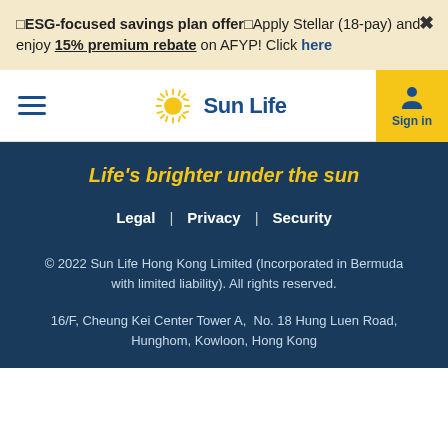🔔ESG-focused savings plan offer🔔Apply Stellar (18-pay) and enjoy 15% premium rebate on AFYP! Click here
[Figure (logo): Sun Life logo with navigation bar including hamburger menu and Sign in button]
Life's brighter under the sun
Legal | Privacy | Security
© 2022 Sun Life Hong Kong Limited (Incorporated in Bermuda with limited liability). All rights reserved.
16/F, Cheung Kei Center Tower A,  No. 18 Hung Luen Road, Hunghom, Kowloon, Hong Kong